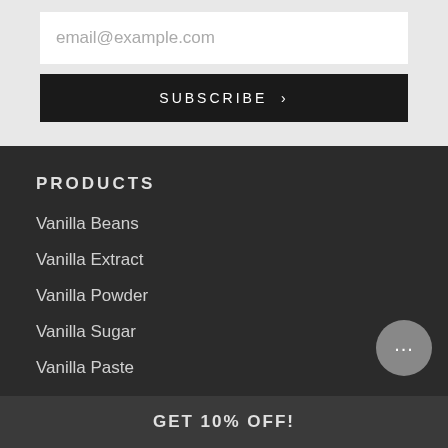email@example.com
SUBSCRIBE >
PRODUCTS
Vanilla Beans
Vanilla Extract
Vanilla Powder
Vanilla Sugar
Vanilla Paste
GET 10% OFF!